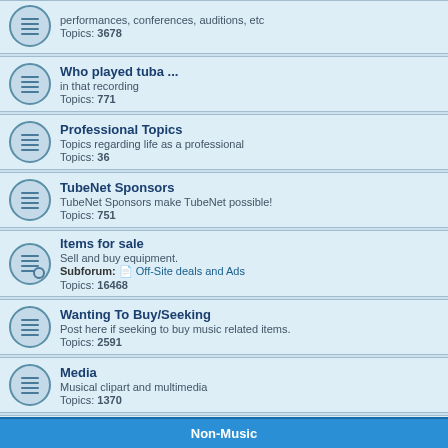performances, conferences, auditions, etc
Topics: 3678
Who played tuba ...
in that recording
Topics: 771
Professional Topics
Topics regarding life as a professional
Topics: 36
TubeNet Sponsors
TubeNet Sponsors make TubeNet possible!
Topics: 751
Items for sale
Sell and buy equipment.
Subforum: Off-Site deals and Ads
Topics: 16468
Wanting To Buy/Seeking
Post here if seeking to buy music related items.
Topics: 2591
Media
Musical clipart and multimedia
Topics: 1370
Repair/Mod
Repair and modification discussion
Topics: 430
Non-Music